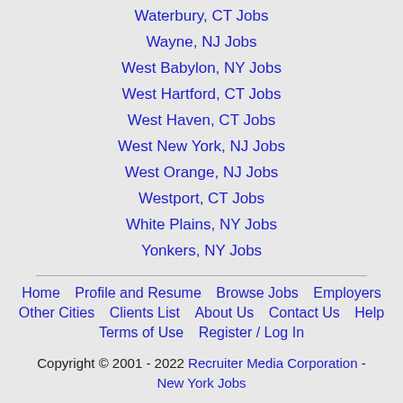Waterbury, CT Jobs
Wayne, NJ Jobs
West Babylon, NY Jobs
West Hartford, CT Jobs
West Haven, CT Jobs
West New York, NJ Jobs
West Orange, NJ Jobs
Westport, CT Jobs
White Plains, NY Jobs
Yonkers, NY Jobs
Home   Profile and Resume   Browse Jobs   Employers   Other Cities   Clients List   About Us   Contact Us   Help   Terms of Use   Register / Log In
Copyright © 2001 - 2022 Recruiter Media Corporation - New York Jobs